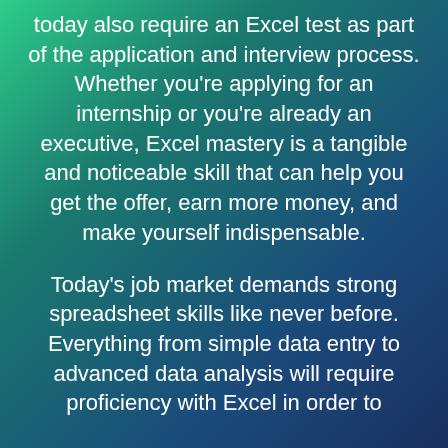today also require an Excel test as part of the application and interview process. Whether you're applying for an internship or you're already an executive, Excel mastery is a tangible and noticeable skill that can help you get the offer, earn more money, and make yourself indispensable.
Today's job market demands strong spreadsheet skills like never before. Everything from simple data entry to advanced data analysis will require proficiency with Excel in order to